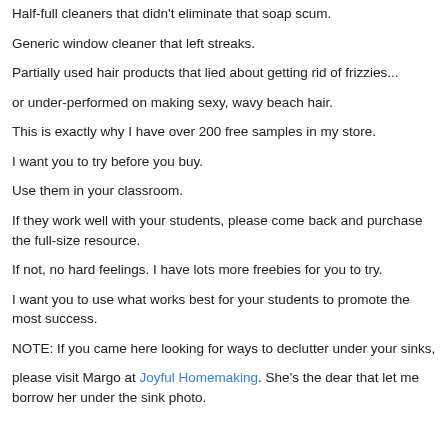Half-full cleaners that didn't eliminate that soap scum.
Generic window cleaner that left streaks.
Partially used hair products that lied about getting rid of frizzies...
or under-performed on making sexy, wavy beach hair.
This is exactly why I have over 200 free samples in my store.
I want you to try before you buy.
Use them in your classroom.
If they work well with your students, please come back and purchase the full-size resource.
If not, no hard feelings. I have lots more freebies for you to try.
I want you to use what works best for your students to promote the most success.
NOTE: If you came here looking for ways to declutter under your sinks,
please visit Margo at Joyful Homemaking. She's the dear that let me borrow her under the sink photo.